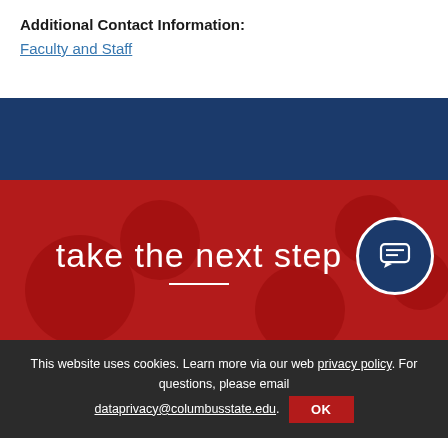Additional Contact Information:
Faculty and Staff
[Figure (other): Navy blue background section divider]
take the next step
[Figure (other): Dark navy circular chat bubble icon button on the right side of the red section]
This website uses cookies. Learn more via our web privacy policy. For questions, please email dataprivacy@columbusstate.edu.
OK